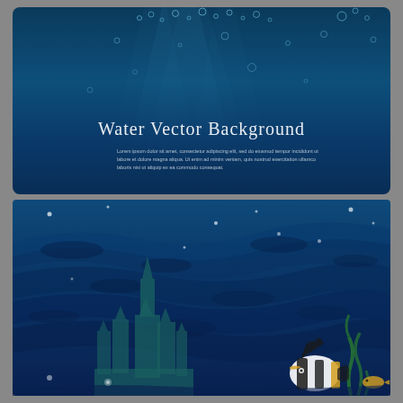[Figure (illustration): Top panel: underwater scene with deep blue gradient background, light rays shining from above, bubbles rising through water. White text reads 'Water Vector Background' with Lorem ipsum placeholder text below. Bottom panel: darker underwater scene with wave patterns, silhouette of a castle/building structure on the left, tropical striped fish (moorish idol) on the bottom right, small yellow fish, seaweed, and small glowing dots scattered throughout.]